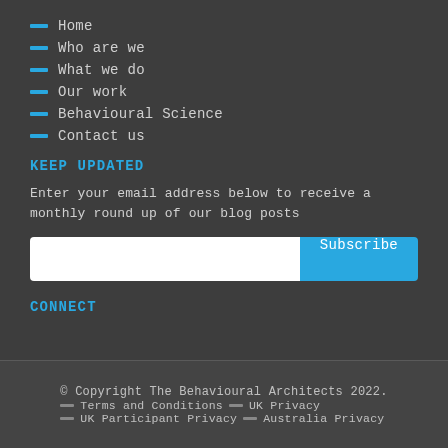Home
Who are we
What we do
Our work
Behavioural Science
Contact us
KEEP UPDATED
Enter your email address below to receive a monthly round up of our blog posts
CONNECT
© Copyright The Behavioural Architects 2022. — Terms and Conditions — UK Privacy — UK Participant Privacy — Australia Privacy